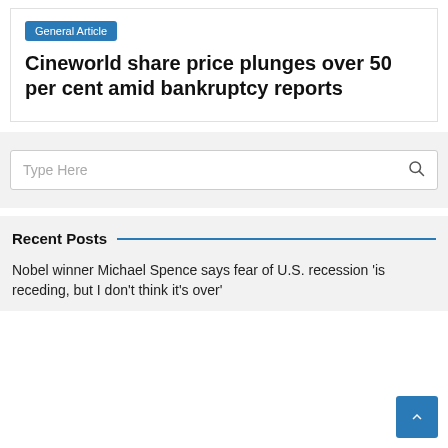General Article
Cineworld share price plunges over 50 per cent amid bankruptcy reports
Recent Posts
Nobel winner Michael Spence says fear of U.S. recession 'is receding, but I don't think it's over'